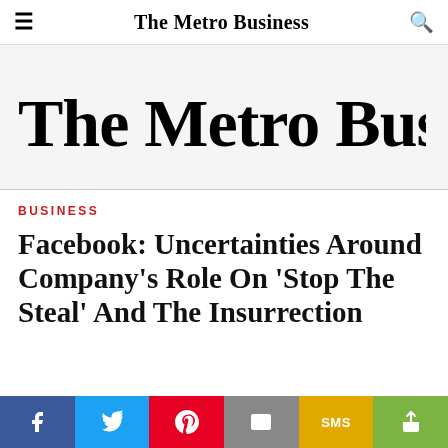The Metro Business
[Figure (logo): The Metro Business masthead logo in large bold serif font on light gray background]
BUSINESS
Facebook: Uncertainties Around Company's Role On 'Stop The Steal' And The Insurrection